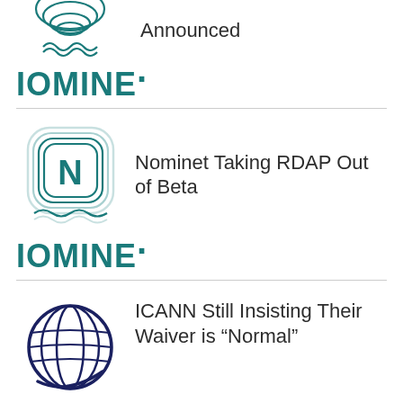[Figure (logo): Topo/wave pattern circular logo (partial, top)]
Announced
[Figure (logo): IOMINE brand wordmark in teal]
[Figure (logo): Nominet N logo with rounded square and wave outline]
Nominet Taking RDAP Out of Beta
[Figure (logo): IOMINE brand wordmark in teal]
[Figure (logo): ICANN globe logo (partial)]
ICANN Still Insisting Their Waiver is “Normal”